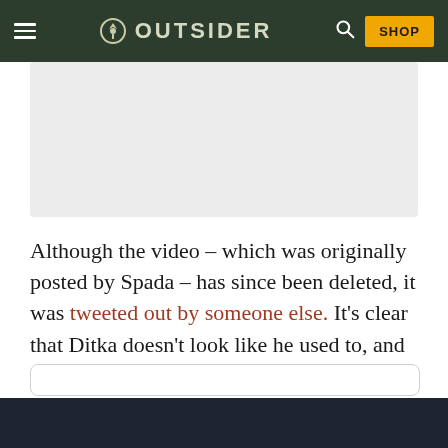OUTSIDER
[Figure (other): Gray advertisement placeholder box]
Although the video – which was originally posted by Spada – has since been deleted, it was tweeted out by someone else. It's clear that Ditka doesn't look like he used to, and that's tough for his fans to see. However, he is still smoking his famous cigars, so he definitely is still himself.